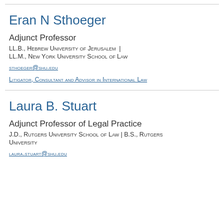Eran N Sthoeger
Adjunct Professor
LL.B., Hebrew University of Jerusalem | LL.M., New York University School of Law
sthoeger@shu.edu
Litigator, Consultant and Advisor in International Law
Laura B. Stuart
Adjunct Professor of Legal Practice
J.D., Rutgers University School of Law | B.S., Rutgers University
laura.stuart@shu.edu